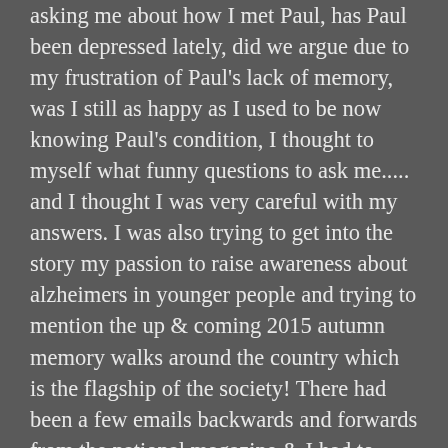asking me about how I met Paul, has Paul been depressed lately, did we argue due to my frustration of Paul's lack of memory, was I still as happy as I used to be now knowing Paul's condition, I thought to myself what funny questions to ask me..... and I thought I was very careful with my answers. I was also trying to get into the story my passion to raise awareness about alzheimers in younger people and trying to mention the up & coming 2015 autumn memory walks around the country which is the flagship of the society! There had been a few emails backwards and forwards from the national magazine & I had to send them some photographs of us both and all emails were all titled in the title subject bar 'my hubby has Alzheimer's at just 54 years old'. So I obviously stupidly assumed that was going to be the title of the article in the magazine. On the day of publication I couldn't wait to go and